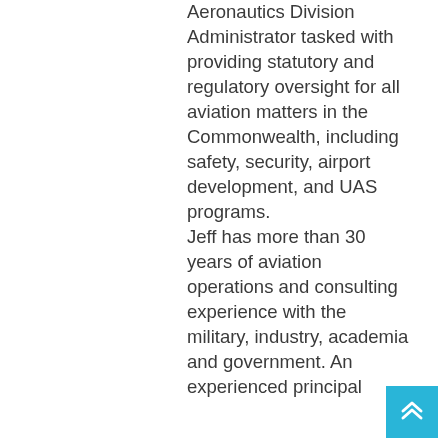Aeronautics Division Administrator tasked with providing statutory and regulatory oversight for all aviation matters in the Commonwealth, including safety, security, airport development, and UAS programs. Jeff has more than 30 years of aviation operations and consulting experience with the military, industry, academia and government. An experienced principal
[Figure (other): Cyan/blue square button with double upward chevron arrow icon, used as a scroll-to-top navigation button]